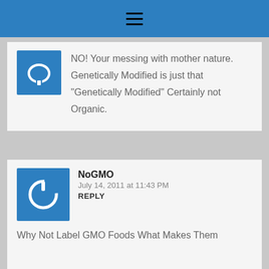≡ (hamburger menu icon)
[Figure (screenshot): Blue square avatar icon with a white horseshoe/smile shape]
NO! Your messing with mother nature. Genetically Modified is just that "Genetically Modified" Certainly not Organic.
[Figure (screenshot): Blue square avatar icon with a white power button symbol]
NoGMO
July 14, 2011 at 11:43 PM
REPLY
Why Not Label GMO Foods What Makes Them